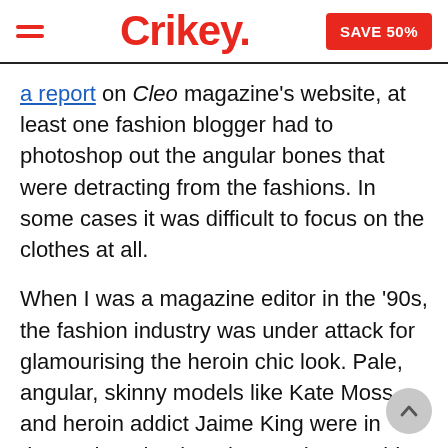Crikey. | SAVE 50%
a report on Cleo magazine's website, at least one fashion blogger had to photoshop out the angular bones that were detracting from the fashions. In some cases it was difficult to focus on the clothes at all.
When I was a magazine editor in the '90s, the fashion industry was under attack for glamourising the heroin chic look. Pale, angular, skinny models like Kate Moss and heroin addict Jaime King were in demand. At the time the trend was said to signify a rejection of the healthy, sporty supermodels of the '80s, when models like Claudia Schiffer and Cindy Crawford dominated the catwalks of every fashion capital,